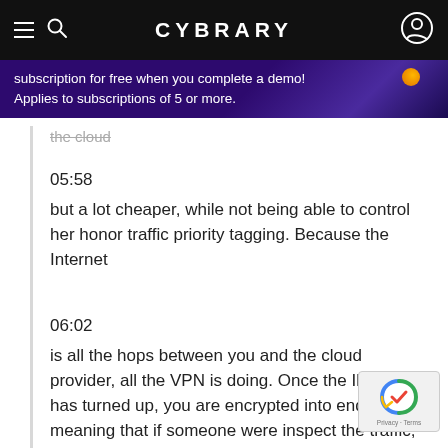CYBRARY
subscription for free when you complete a demo! Applies to subscriptions of 5 or more.
the cloud
05:58
but a lot cheaper, while not being able to control her honor traffic priority tagging. Because the Internet
06:02
is all the hops between you and the cloud provider, all the VPN is doing. Once the Ike tunnel has turned up, you are encrypted into end private, meaning that if someone were inspect the traffic, say a man in the middle traffic sniffing attack because the attacker